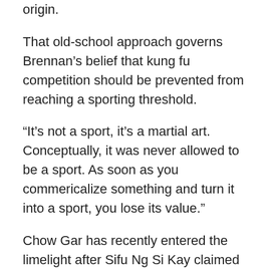origin.
That old-school approach governs Brennan's belief that kung fu competition should be prevented from reaching a sporting threshold.
“It’s not a sport, it’s a martial art. Conceptually, it was never allowed to be a sport. As soon as you commericalize something and turn it into a sport, you lose its value.”
Chow Gar has recently entered the limelight after Sifu Ng Si Kay claimed that ‘Other styles do not match Chow Gar’ and that if challenged by a master of another style he could ‘take his power away from him’. Brennan is quick to return the comment to its proper context.
“That was a little bit misunderstood,” he says. “The